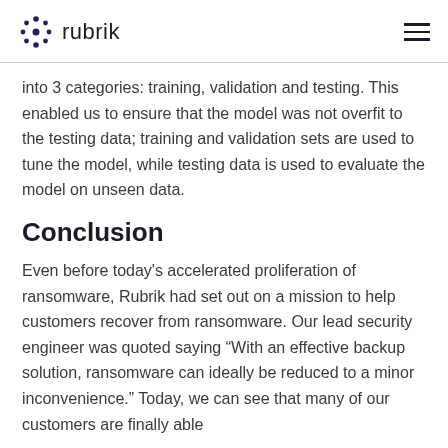rubrik
into 3 categories: training, validation and testing. This enabled us to ensure that the model was not overfit to the testing data; training and validation sets are used to tune the model, while testing data is used to evaluate the model on unseen data.
Conclusion
Even before today’s accelerated proliferation of ransomware, Rubrik had set out on a mission to help customers recover from ransomware. Our lead security engineer was quoted saying “With an effective backup solution, ransomware can ideally be reduced to a minor inconvenience.” Today, we can see that many of our customers are finally able